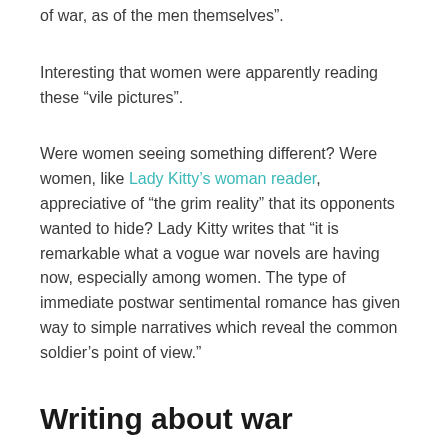of war, as of the men themselves”.
Interesting that women were apparently reading these “vile pictures”.
Were women seeing something different? Were women, like Lady Kitty’s woman reader, appreciative of “the grim reality” that its opponents wanted to hide? Lady Kitty writes that “it is remarkable what a vogue war novels are having now, especially among women. The type of immediate postwar sentimental romance has given way to simple narratives which reveal the common soldier’s point of view.”
Writing about war